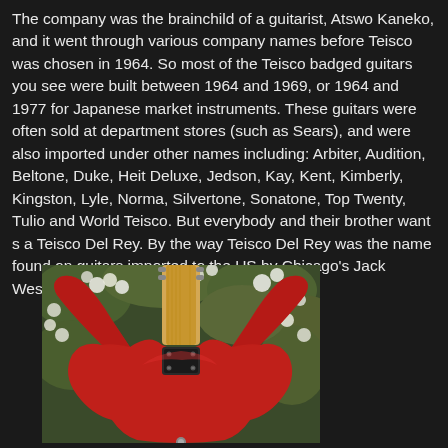The company was the brainchild of a guitarist, Atswo Kaneko, and it went through various company names before Teisco was chosen in 1964. So most of the Teisco badged guitars you see were built between 1964 and 1969, or 1964 and 1977 for Japanese market instruments. These guitars were often sold at department stores (such as Sears), and were also imported under other names including: Arbiter, Audition, Beltone, Duke, Heit Deluxe, Jedson, Kay, Kent, Kimberly, Kingston, Lyle, Norma, Silvertone, Sonatone, Top Twenty, Tulio and World Teisco. But everybody and their brother want s a Teisco Del Rey. By the way Teisco Del Rey was the name found on guitars imported to the US by Chicago's Jack Westheimer from 1965 to 1969.
[Figure (photo): Back view of a red Teisco electric guitar body with maple neck, against a background of white flowers and green foliage.]